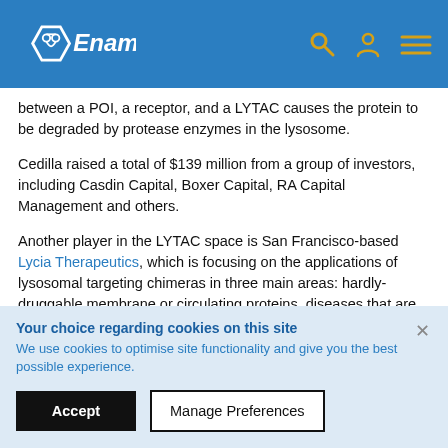Enamine
between a POI, a receptor, and a LYTAC causes the protein to be degraded by protease enzymes in the lysosome.
Cedilla raised a total of $139 million from a group of investors, including Casdin Capital, Boxer Capital, RA Capital Management and others.
Another player in the LYTAC space is San Francisco-based Lycia Therapeutics, which is focusing on the applications of lysosomal targeting chimeras in three main areas: hardly-druggable membrane or circulating proteins, diseases that are driven by protein aggregation and diseases in which autoantibodies play a role. In 2021, Eli Lilly tapped Lycia's LYTAC
Your choice regarding cookies on this site
We use cookies to optimise site functionality and give you the best possible experience.